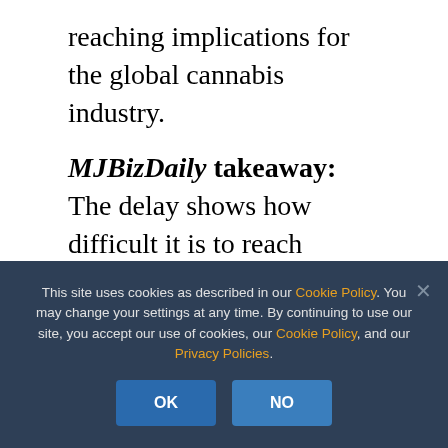reaching implications for the global cannabis industry.
MJBizDaily takeaway: The delay shows how difficult it is to reach agreements on cannabis policy across national borders.
ADVERTISEMENT
[Figure (other): Advertisement banner with purple/pink gradient background and close button]
This site uses cookies as described in our Cookie Policy. You may change your settings at any time. By continuing to use our site, you accept our use of cookies, our Cookie Policy, and our Privacy Policies.